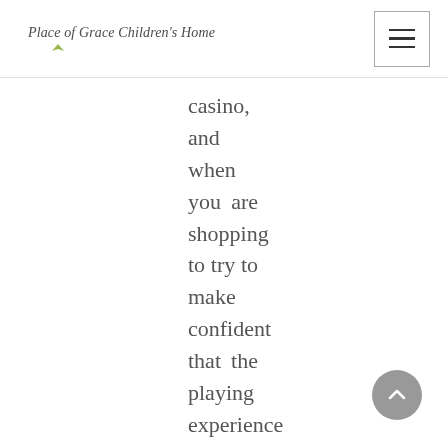Place of Grace Children's Home
casino, and when you are shopping to try to make confident that the playing experience feels real for your players, this is one way to do it. You will come across that it will be attainable to have debris that happen to be